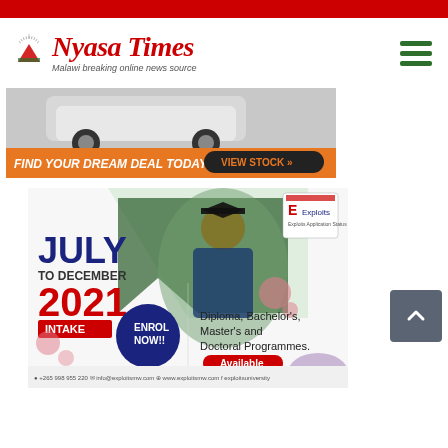Nyasa Times - Malawi breaking online news source
[Figure (illustration): Car dealership advertisement banner with white luxury car, orange background, text 'FIND YOUR DREAM DEAL TODAY!!' and 'VIEW STOCK' button]
[Figure (illustration): Exploits University advertisement for July to December 2021 Intake. Shows a female graduate in academic gown. Text: JULY TO DECEMBER 2021 INTAKE, ENROL NOW!!, Diploma, Bachelor's, Master's and Doctoral Programmes Available. Contact: +265 998 955 220, info@exploitsmw.com, www.exploitsmw.com, exploitsuniversity]